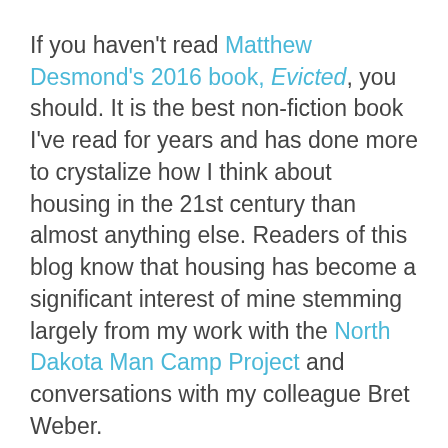If you haven't read Matthew Desmond's 2016 book, Evicted, you should. It is the best non-fiction book I've read for years and has done more to crystalize how I think about housing in the 21st century than almost anything else. Readers of this blog know that housing has become a significant interest of mine stemming largely from my work with the North Dakota Man Camp Project and conversations with my colleague Bret Weber.
As most folks probably know, Desmond's Evicted follows a group of people who